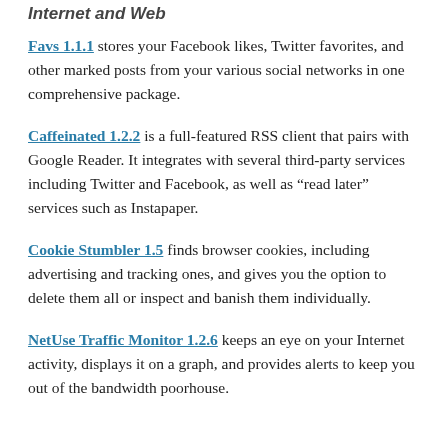Internet and Web
Favs 1.1.1 stores your Facebook likes, Twitter favorites, and other marked posts from your various social networks in one comprehensive package.
Caffeinated 1.2.2 is a full-featured RSS client that pairs with Google Reader. It integrates with several third-party services including Twitter and Facebook, as well as “read later” services such as Instapaper.
Cookie Stumbler 1.5 finds browser cookies, including advertising and tracking ones, and gives you the option to delete them all or inspect and banish them individually.
NetUse Traffic Monitor 1.2.6 keeps an eye on your Internet activity, displays it on a graph, and provides alerts to keep you out of the bandwidth poorhouse.